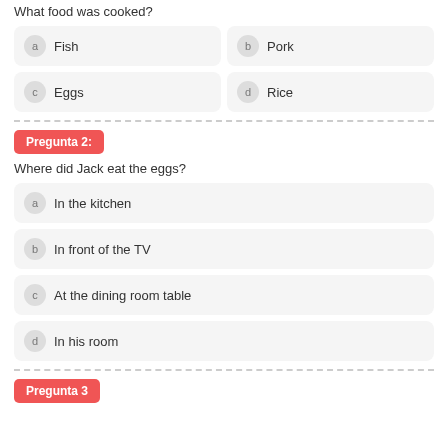What food was cooked?
a  Fish
b  Pork
c  Eggs
d  Rice
Pregunta 2:
Where did Jack eat the eggs?
a  In the kitchen
b  In front of the TV
c  At the dining room table
d  In his room
Pregunta 3: